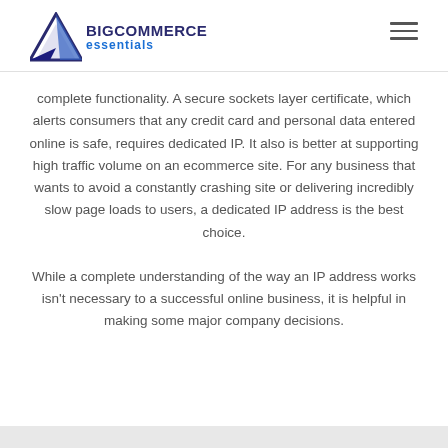BIGCOMMERCE essentials
complete functionality. A secure sockets layer certificate, which alerts consumers that any credit card and personal data entered online is safe, requires dedicated IP. It also is better at supporting high traffic volume on an ecommerce site. For any business that wants to avoid a constantly crashing site or delivering incredibly slow page loads to users, a dedicated IP address is the best choice.
While a complete understanding of the way an IP address works isn't necessary to a successful online business, it is helpful in making some major company decisions.